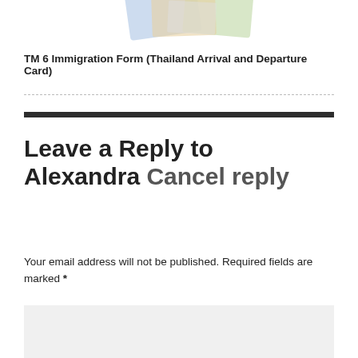[Figure (photo): Partial view of passports and documents at the top of the page]
TM 6 Immigration Form (Thailand Arrival and Departure Card)
Leave a Reply to Alexandra Cancel reply
Your email address will not be published. Required fields are marked *